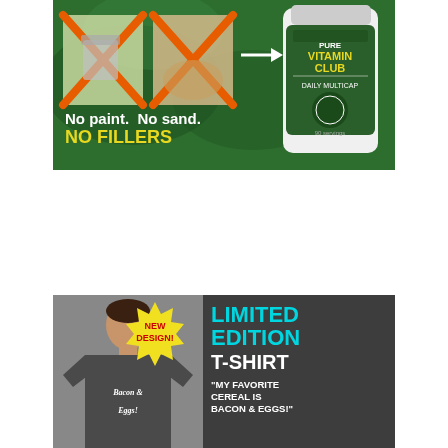[Figure (illustration): Advertisement for Pure Vitamin Club Daily Multicap supplement on green leafy background. Shows crossed-out images of paint and sand with white text 'No paint. No sand.' and yellow text 'NO FILLERS'. Product bottle shown on right side.]
[Figure (illustration): Advertisement for a Limited Edition T-Shirt featuring a young man wearing a dark gray t-shirt with 'Bacon & Eggs!' script text. Yellow starburst badge says 'NEW DESIGN!' in red. Teal text reads 'LIMITED EDITION T-SHIRT' and white text reads '"MY FAVORITE CEREAL IS BACON & EGGS!"']